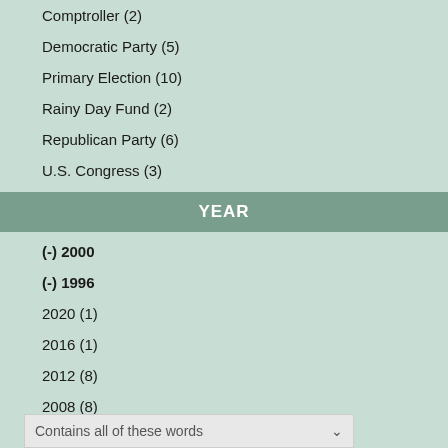Comptroller (2)
Democratic Party (5)
Primary Election (10)
Rainy Day Fund (2)
Republican Party (6)
U.S. Congress (3)
YEAR
(-) 2000
(-) 1996
2020 (1)
2016 (1)
2012 (8)
2008 (8)
2004 (8)
Contains all of these words